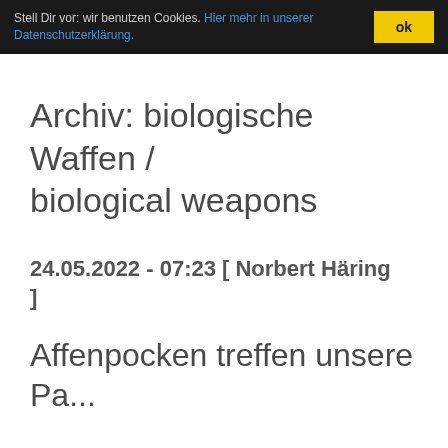Stell Dir vor: wir benutzen Cookies. Hier mehr in unserer Datenschutzerklärung. ok
Archiv: biologische Waffen / biological weapons
24.05.2022 - 07:23 [ Norbert Häring ]
Affenpocken treffen unsere Dazu...